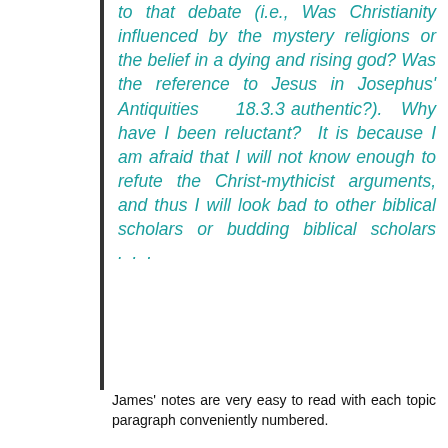to that debate (i.e., Was Christianity influenced by the mystery religions or the belief in a dying and rising god? Was the reference to Jesus in Josephus' Antiquities 18.3.3 authentic?). Why have I been reluctant? It is because I am afraid that I will not know enough to refute the Christ-mythicist arguments, and thus I will look bad to other biblical scholars or budding biblical scholars . . .
James' notes are very easy to read with each topic paragraph conveniently numbered.